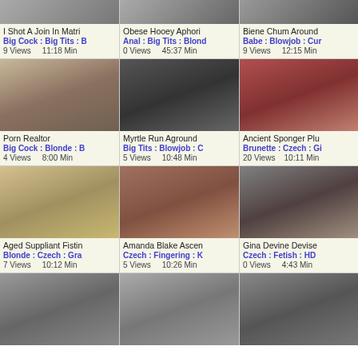[Figure (screenshot): Video thumbnail grid showing adult video listings with titles, tags, view counts and durations]
I Shot A Join In Matri
Big Cock : Big Tits : ...
9 Views   11:18 Min
Obese Hooey Aphori
Anal : Big Tits : Blond
0 Views   45:37 Min
Biene Chum Around
Babe : Blowjob : Cur
9 Views   12:15 Min
Porn Realtor
Big Cock : Blonde : B
4 Views   8:00 Min
Myrtle Run Aground
Big Tits : Blowjob : C
5 Views   10:48 Min
Ancient Sponger Plu
Brunette : Czech : Gi
20 Views   10:11 Min
Aged Suppliant Fistin
Blonde : Czech : Gra
7 Views   10:12 Min
Amanda Blake Ascen
Czech : Fingering : K
5 Views   10:26 Min
Gina Devine Devise
Czech : Fetish : HD
0 Views   4:43 Min